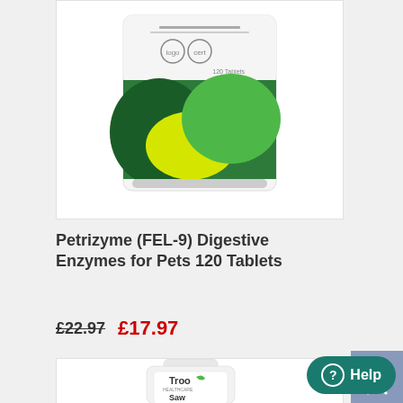[Figure (photo): Petrizyme (FEL-9) Digestive Enzymes product box with green and yellow abstract design on a white background]
Petrizyme (FEL-9) Digestive Enzymes for Pets 120 Tablets
£22.97  £17.97
[Figure (photo): Troo Healthcare supplement bottle (white) with Saw Palmetto label visible, partially cropped at bottom of page]